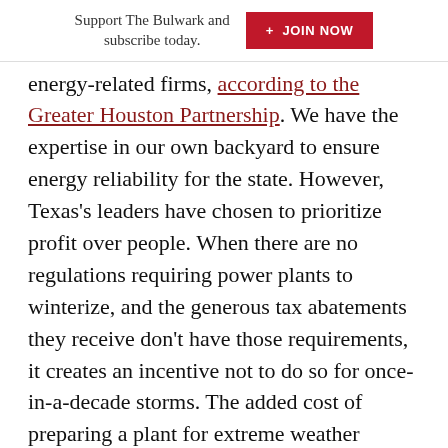Support The Bulwark and subscribe today.  + JOIN NOW
energy-related firms, according to the Greater Houston Partnership. We have the expertise in our own backyard to ensure energy reliability for the state. However, Texas's leaders have chosen to prioritize profit over people. When there are no regulations requiring power plants to winterize, and the generous tax abatements they receive don't have those requirements, it creates an incentive not to do so for once-in-a-decade storms. The added cost of preparing a plant for extreme weather would cause the price of electricity provided to be higher, thus making the responsible plant operator unable to compete in a